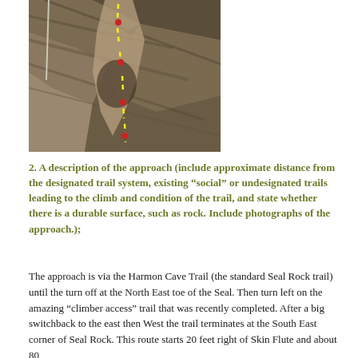[Figure (photo): A photograph of a rock face/climbing route with a yellow dashed line indicating the climbing route path, and red dots marking specific points along the route.]
2.  A description of the approach (include approximate distance from the designated trail system, existing “social” or undesignated trails leading to the climb and condition of the trail, and state whether there is a durable surface, such as rock. Include photographs of the approach.);
The approach is via the Harmon Cave Trail (the standard Seal Rock trail) until the turn off at the North East toe of the Seal. Then turn left on the amazing “climber access” trail that was recently completed.  After a big switchback to the east then West the trail terminates at the South East corner of Seal Rock.  This route starts 20 feet right of Skin Flute and about 80